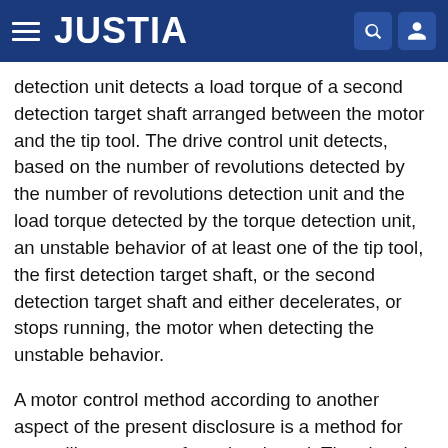JUSTIA
detection unit detects a load torque of a second detection target shaft arranged between the motor and the tip tool. The drive control unit detects, based on the number of revolutions detected by the number of revolutions detection unit and the load torque detected by the torque detection unit, an unstable behavior of at least one of the tip tool, the first detection target shaft, or the second detection target shaft and either decelerates, or stops running, the motor when detecting the unstable behavior.
A motor control method according to another aspect of the present disclosure is a method for controlling a motor of an electric tool. The electric tool includes: the motor; an attachment unit to receive a tip tool attached thereto; and a transmission mechanism to transmit motive power of the motor to the attachment unit. The